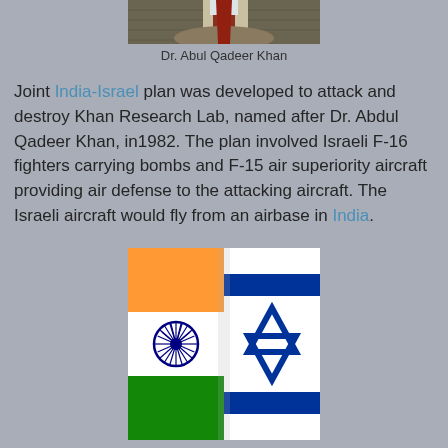[Figure (photo): Partial photo of Dr. Abul Qadeer Khan, showing lower torso in suit with tie, cropped at top of page]
Dr. Abul Qadeer Khan
Joint India-Israel plan was developed to attack and destroy Khan Research Lab, named after Dr. Abdul Qadeer Khan, in1982. The plan involved Israeli F-16 fighters carrying bombs and F-15 air superiority aircraft providing air defense to the attacking aircraft. The Israeli aircraft would fly from an airbase in India.
[Figure (photo): Combined India and Israel flags side by side - India flag with saffron, white, and green stripes with Ashoka Chakra wheel, and Israel flag with blue Star of David on white background]